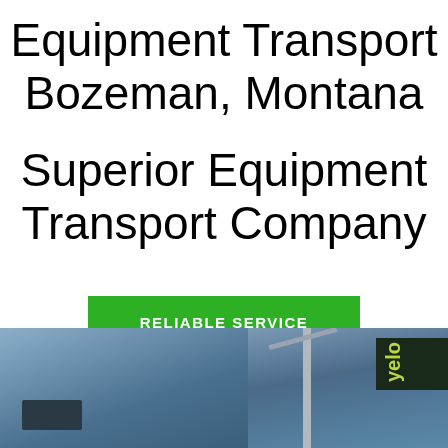Equipment Transport Bozeman, Montana
Superior Equipment Transport Company
RELIABLE SERVICE
[Figure (photo): Two photos side by side: left shows a truck/vehicle exterior in blue-gray tones, right shows a yellow forklift or crane with 'Yelo' branding visible, set against a blue sky with structural elements]